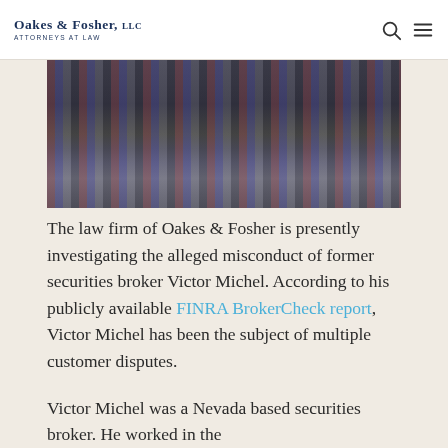Oakes & Fosher, LLC — Attorneys at Law
[Figure (photo): Person working at multiple computer monitors displaying financial charts and data]
The law firm of Oakes & Fosher is presently investigating the alleged misconduct of former securities broker Victor Michel. According to his publicly available FINRA BrokerCheck report, Victor Michel has been the subject of multiple customer disputes.
Victor Michel was a Nevada based securities broker. He worked in the